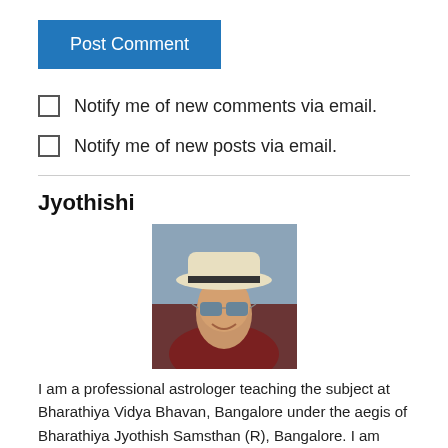Post Comment
Notify me of new comments via email.
Notify me of new posts via email.
Jyothishi
[Figure (photo): Portrait photo of a man wearing a white panama hat, reflective sunglasses, and a dark red/maroon shirt, smiling at the camera.]
I am a professional astrologer teaching the subject at Bharathiya Vidya Bhavan, Bangalore under the aegis of Bharathiya Jyothish Samsthan (R), Bangalore. I am also a founder trustee of BJS and have been conferred many titles chief among them are Jyothish Kovid, Jyothish